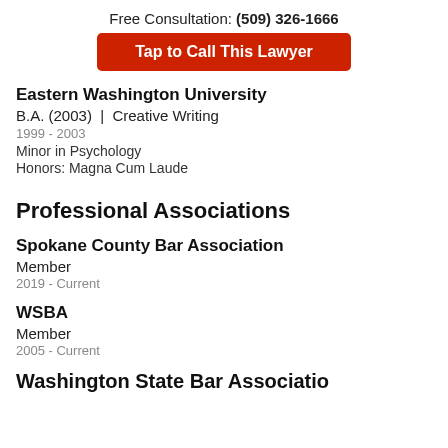Free Consultation: (509) 326-1666
[Figure (other): Red button: Tap to Call This Lawyer]
Eastern Washington University
B.A. (2003) | Creative Writing
1999 - 2003
Minor in Psychology
Honors: Magna Cum Laude
Professional Associations
Spokane County Bar Association
Member
2019 - Current
WSBA
Member
2005 - Current
Washington State Bar Association